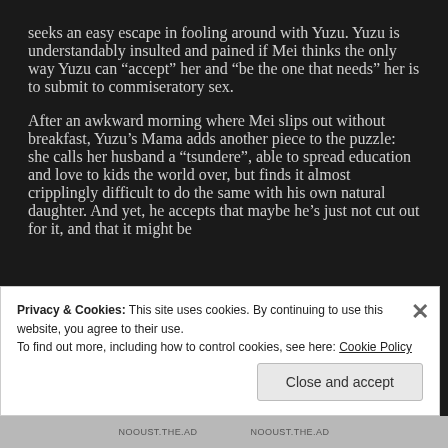seeks an easy escape in fooling around with Yuzu. Yuzu is understandably insulted and pained if Mei thinks the only way Yuzu can “accept” her and “be the one that needs” her is to submit to commiseratory sex.
After an awkward morning where Mei slips out without breakfast, Yuzu’s Mama adds another piece to the puzzle: she calls her husband a “tsundere”, able to spread education and love to kids the world over, but finds it almost cripplingly difficult to do the same with his own natural daughter. And yet, he accepts that maybe he’s just not cut out for it, and that it might be
Privacy & Cookies: This site uses cookies. By continuing to use this website, you agree to their use.
To find out more, including how to control cookies, see here: Cookie Policy
Close and accept